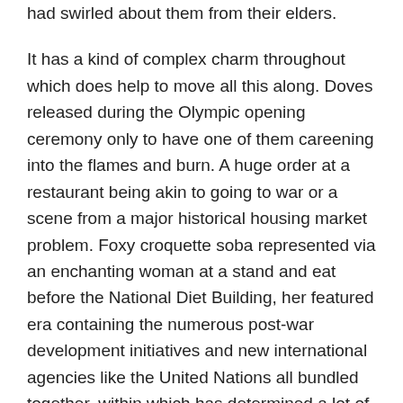had swirled about them from their elders.
It has a kind of complex charm throughout which does help to move all this along. Doves released during the Olympic opening ceremony only to have one of them careening into the flames and burn. A huge order at a restaurant being akin to going to war or a scene from a major historical housing market problem. Foxy croquette soba represented via an enchanting woman at a stand and eat before the National Diet Building, her featured era containing the numerous post-war development initiatives and new international agencies like the United Nations all bundled together, within which has determined a lot of Japan's image to the outside world into the present. There is this mix of idealization and questioning. This clash where aspects of these cultural shifts and perspectives may be both wrong and right in different capacities. Which I think is a healthy route for it to take, and again akin to the paths explored by Oshii in places like